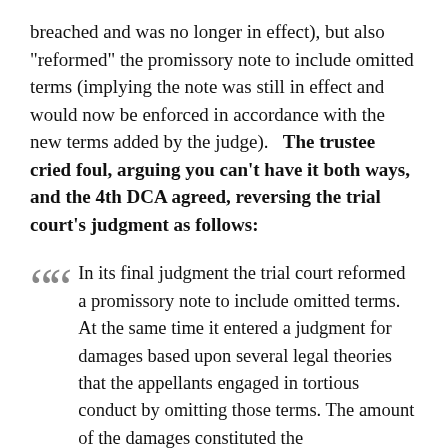breached and was no longer in effect), but also "reformed" the promissory note to include omitted terms (implying the note was still in effect and would now be enforced in accordance with the new terms added by the judge).   The trustee cried foul, arguing you can't have it both ways, and the 4th DCA agreed, reversing the trial court's judgment as follows:
In its final judgment the trial court reformed a promissory note to include omitted terms. At the same time it entered a judgment for damages based upon several legal theories that the appellants engaged in tortious conduct by omitting those terms. The amount of the damages constituted the